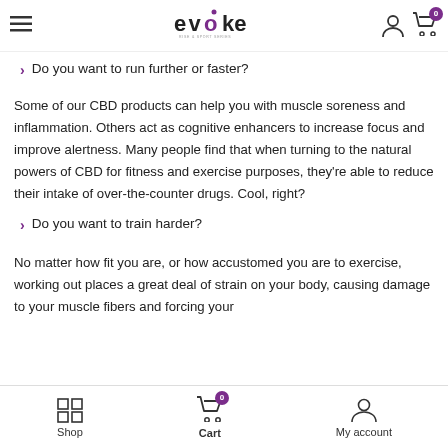Evoke — navigation header with logo, account, and cart icons
Do you want to run further or faster?
Some of our CBD products can help you with muscle soreness and inflammation. Others act as cognitive enhancers to increase focus and improve alertness. Many people find that when turning to the natural powers of CBD for fitness and exercise purposes, they're able to reduce their intake of over-the-counter drugs. Cool, right?
Do you want to train harder?
No matter how fit you are, or how accustomed you are to exercise, working out places a great deal of strain on your body, causing damage to your muscle fibers and forcing your
Shop | Cart 0 | My account